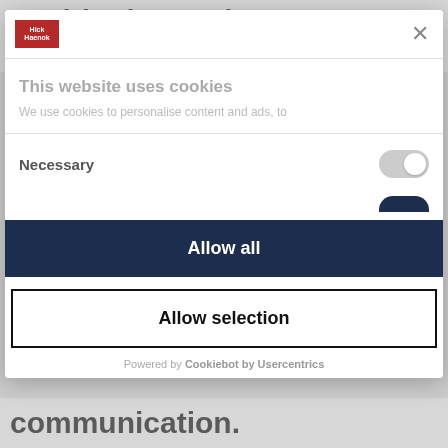positioning and communication
[Figure (screenshot): Cookie consent modal dialog with logo, close button, 'This website uses cookies' heading, 'We use cookies to personalise content and ads, to' description text, Necessary toggle switch, partial second toggle, 'Allow all' dark button, 'Allow selection' outlined button, and 'Powered by Cookiebot by Usercentrics' footer]
communication.